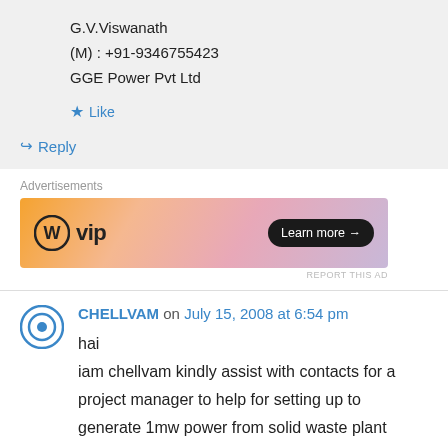G.V.Viswanath
(M) : +91-9346755423
GGE Power Pvt Ltd
★ Like
↳ Reply
Advertisements
[Figure (other): WP VIP advertisement banner with gradient orange/pink/purple background and Learn more button]
REPORT THIS AD
CHELLVAM on July 15, 2008 at 6:54 pm
hai
iam chellvam kindly assist with contacts for a project manager to help for setting up to generate 1mw power from solid waste plant